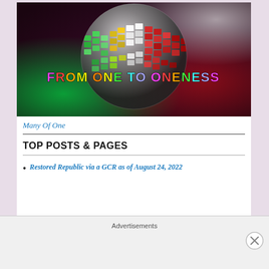[Figure (illustration): Colorful disco mirror ball with the text 'FROM ONE TO ONENESS' overlaid in multicolor bubble letters against a dark background with green and red lighting.]
Many Of One
TOP POSTS & PAGES
Restored Republic via a GCR as of August 24, 2022
Advertisements